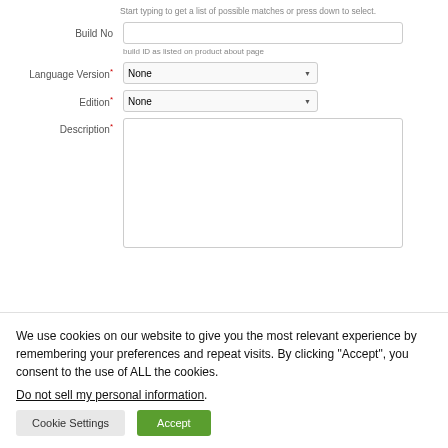Start typing to get a list of possible matches or press down to select.
Build No
build ID as listed on product about page
Language Version*
Edition*
Description*
We use cookies on our website to give you the most relevant experience by remembering your preferences and repeat visits. By clicking “Accept”, you consent to the use of ALL the cookies.
Do not sell my personal information.
Cookie Settings
Accept